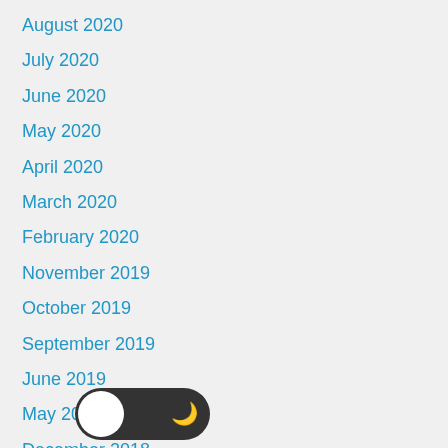August 2020
July 2020
June 2020
May 2020
April 2020
March 2020
February 2020
November 2019
October 2019
September 2019
June 2019
May 2019
December 2018
November 2018
September 2018